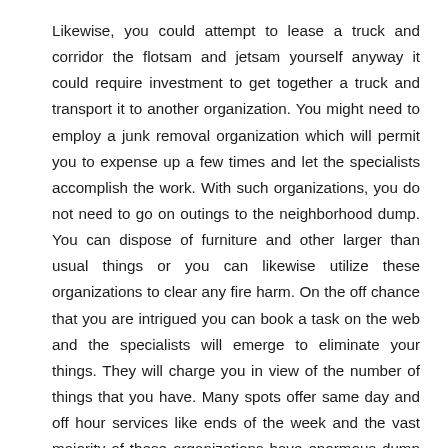Likewise, you could attempt to lease a truck and corridor the flotsam and jetsam yourself anyway it could require investment to get together a truck and transport it to another organization. You might need to employ a junk removal organization which will permit you to expense up a few times and let the specialists accomplish the work. With such organizations, you do not need to go on outings to the neighborhood dump. You can dispose of furniture and other larger than usual things or you can likewise utilize these organizations to clear any fire harm. On the off chance that you are intrigued you can book a task on the web and the specialists will emerge to eliminate your things. They will charge you in view of the number of things that you have. Many spots offer same day and off hour services like ends of the week and the vast majority of these organizations have enormous dump trucks.